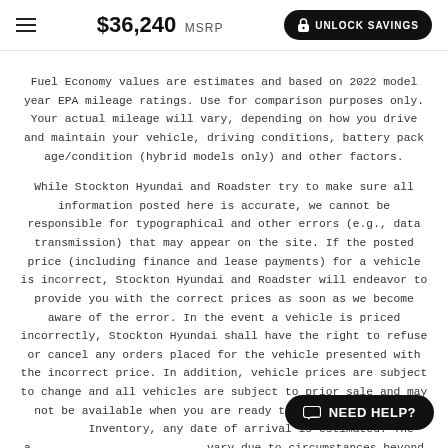$36,240 MSRP | UNLOCK SAVINGS
Fuel Economy values are estimates and based on 2022 model year EPA mileage ratings. Use for comparison purposes only. Your actual mileage will vary, depending on how you drive and maintain your vehicle, driving conditions, battery pack age/condition (hybrid models only) and other factors.
While Stockton Hyundai and Roadster try to make sure all information posted here is accurate, we cannot be responsible for typographical and other errors (e.g., data transmission) that may appear on the site. If the posted price (including finance and lease payments) for a vehicle is incorrect, Stockton Hyundai and Roadster will endeavor to provide you with the correct prices as soon as we become aware of the error. In the event a vehicle is priced incorrectly, Stockton Hyundai shall have the right to refuse or cancel any orders placed for the vehicle presented with the incorrect price. In addition, vehicle prices are subject to change and all vehicles are subject to prior sale and may not be available when you are ready to purchase. For In-Transit Inventory, any date of arrival is estimated. The actual date of arrival may vary due to circumstances beyond Hyundai and the dealer's control. Please